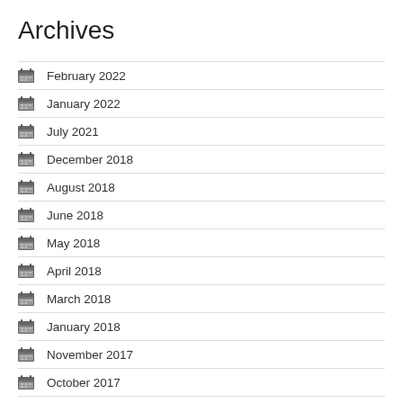Archives
February 2022
January 2022
July 2021
December 2018
August 2018
June 2018
May 2018
April 2018
March 2018
January 2018
November 2017
October 2017